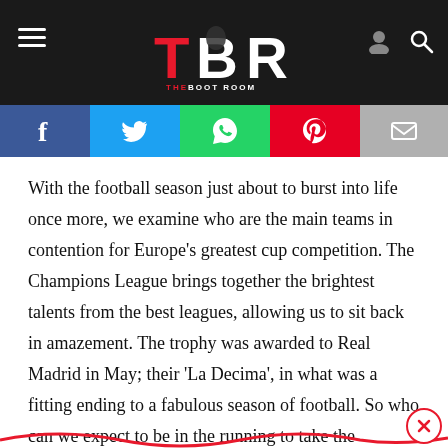TBR THE BOOT ROOM
[Figure (screenshot): Social media share buttons: Facebook, Twitter, WhatsApp, Pinterest, Email]
With the football season just about to burst into life once more, we examine who are the main teams in contention for Europe's greatest cup competition. The Champions League brings together the brightest talents from the best leagues, allowing us to sit back in amazement. The trophy was awarded to Real Madrid in May; their ‘La Decima’, in what was a fitting ending to a fabulous season of football. So who can we expect to be in the running to take the Champions League away from Los Blancos, or will they